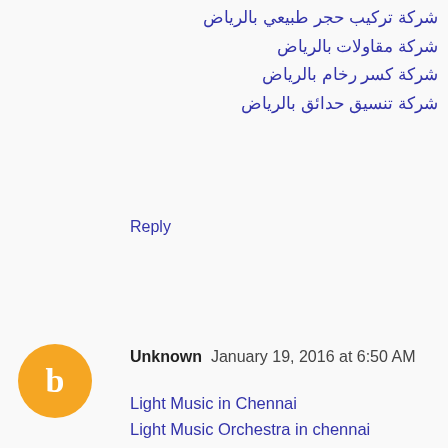شركة تركيب حجر طبيعي بالرياض
شركة مقاولات بالرياض
شركة كسر رخام بالرياض
شركة تنسيق حدائق بالرياض
Reply
Unknown  January 19, 2016 at 6:50 AM
Light Music in Chennai
Light Music Orchestra in chennai
Light Music Band in Chennai
Light Music Troupe in Chennai
Light Music for Marriage in Chennai
Orchestra for Mariage in Chennai
Instrumental Orchestra in Chennai
Event Organisers in Chennai
Photographers in Chennai
DJ in Chennai
Best DJ in Chennai
DJ Parties in Chennai
Wedding DJ in Chennai